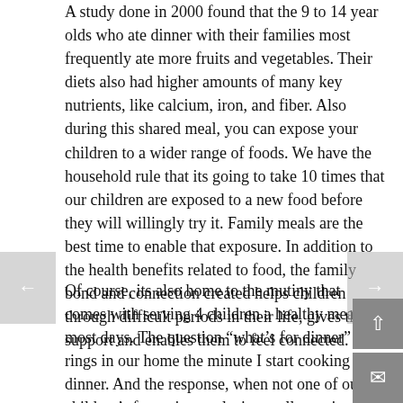A study done in 2000 found that the 9 to 14 year olds who ate dinner with their families most frequently ate more fruits and vegetables. Their diets also had higher amounts of many key nutrients, like calcium, iron, and fiber. Also during this shared meal, you can expose your children to a wider range of foods. We have the household rule that its going to take 10 times that our children are exposed to a new food before they will willingly try it. Family meals are the best time to enable that exposure. In addition to the health benefits related to food, the family bond and connection created helps children through difficult periods in their life, gives them support and enables them to feel connected.
Of course, its also home to the mutiny that comes with serving 4 children a healthy meal most days. The question "what's for dinner" rings in our home the minute I start cooking dinner. And the response, when not one of our children's favourite meals, is usually a grimace, an accusation ("You know I don't like that") and often crying or yelling. When the disliked meal of the day is served, there is usually more complaints, sometimes crying, often long unhappy faces. When the meal doesn't capture our kids'